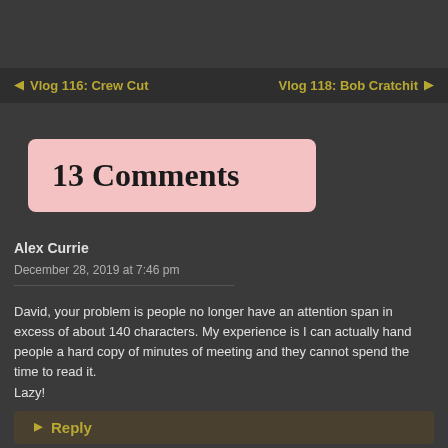← Vlog 116: Crew Cut    Vlog 118: Bob Cratchit →
13 Comments
Alex Currie
December 28, 2019 at 7:46 pm
David, your problem is people no longer have an attention span in excess of about 140 characters. My experience is I can actually hand people a hard copy of minutes of meeting and they cannot spend the time to read it.
Lazy!
↵ Reply